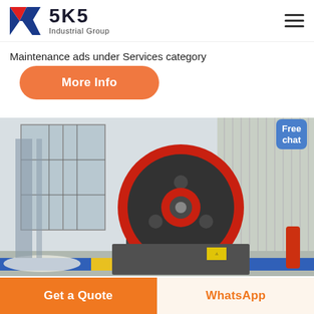[Figure (logo): SKS Industrial Group logo with red and blue K icon and text SKS Industrial Group]
Maintenance ads under Services category
More Info
[Figure (photo): Industrial jaw crusher machine with red and black flywheel in a factory interior with large windows]
Free chat
Get a Quote
WhatsApp